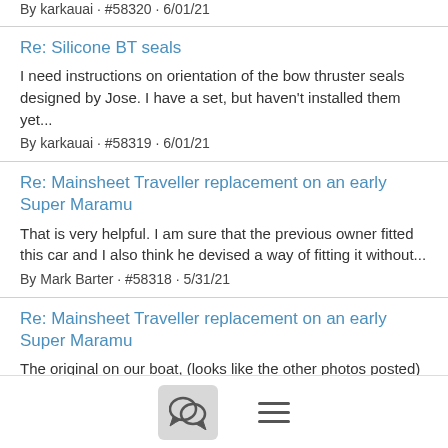By karkauai · #58320 · 6/01/21
Re: Silicone BT seals
I need instructions on orientation of the bow thruster seals designed by Jose. I have a set, but haven't installed them yet...
By karkauai · #58319 · 6/01/21
Re: Mainsheet Traveller replacement on an early Super Maramu
That is very helpful. I am sure that the previous owner fitted this car and I also think he devised a way of fitting it without...
By Mark Barter · #58318 · 5/31/21
Re: Mainsheet Traveller replacement on an early Super Maramu
The original on our boat, (looks like the other photos posted) was made by Antal. It doesn't match exactly traveler cars in the...
By Bill Kinney · #58317 · 5/31/21
Re: Rebuilding the main furler worm gear
[Figure (other): Bottom navigation bar with chat icon button and hamburger menu icon]